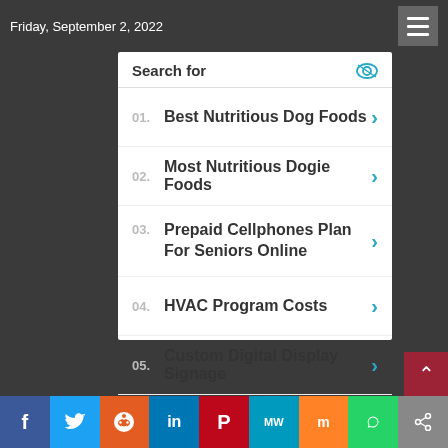Friday, September 2, 2022
Search for
01. Best Nutritious Dog Foods
02. Most Nutritious Dogie Foods
03. Prepaid Cellphones Plan For Seniors Online
04. HVAC Program Costs
05. Custom Digital Display Signage
Yahoo! Search | Sponsored
f  Twitter  Reddit  in  Pinterest  MW  Mix  WhatsApp  Share